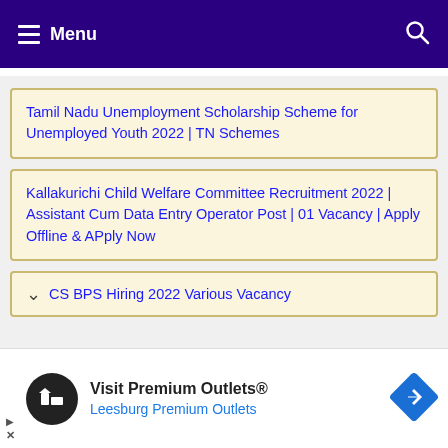Menu
Tamil Nadu Unemployment Scholarship Scheme for Unemployed Youth 2022 | TN Schemes
Kallakurichi Child Welfare Committee Recruitment 2022 | Assistant Cum Data Entry Operator Post | 01 Vacancy | Apply Offline & APply Now
CS BPS Hiring 2022 Various Vacancy
Visit Premium Outlets®
Leesburg Premium Outlets